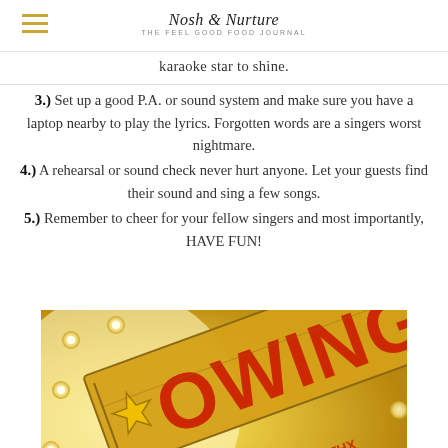Nosh & Nurture
karaoke star to shine.
3.) Set up a good P.A. or sound system and make sure you have a laptop nearby to play the lyrics. Forgotten words are a singers worst nightmare.
4.) A rehearsal or sound check never hurt anyone. Let your guests find their sound and sing a few songs.
5.) Remember to cheer for your fellow singers and most importantly, HAVE FUN!
[Figure (photo): Close-up photo of a glowing marquee sign reading 'OWING' with lights and a star emblem, warm golden tones.]